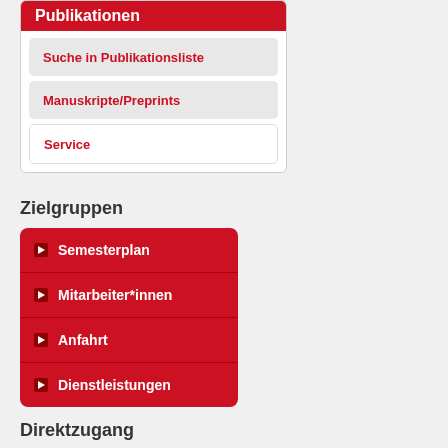Publikationen
Suche in Publikationsliste
Manuskripte/Preprints
Service
Zielgruppen
Semesterplan
Mitarbeiter*innen
Anfahrt
Dienstleistungen
Direktzugang